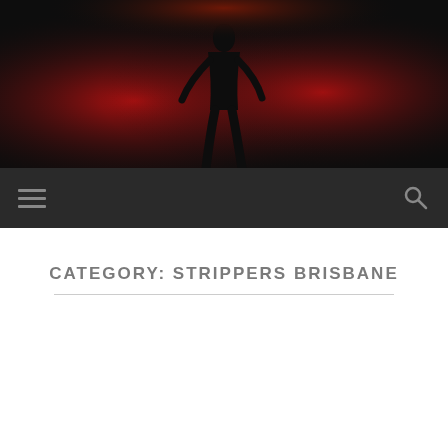[Figure (photo): Website header banner showing a silhouette of a dancer against a dramatic red smoke/light background on a dark black stage]
Navigation bar with hamburger menu icon and search icon on dark background
CATEGORY: STRIPPERS BRISBANE